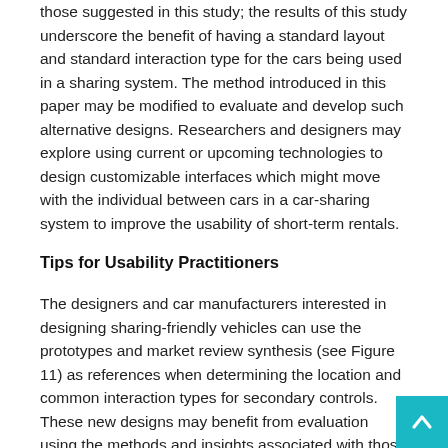those suggested in this study; the results of this study underscore the benefit of having a standard layout and standard interaction type for the cars being used in a sharing system. The method introduced in this paper may be modified to evaluate and develop such alternative designs. Researchers and designers may explore using current or upcoming technologies to design customizable interfaces which might move with the individual between cars in a car-sharing system to improve the usability of short-term rentals.
Tips for Usability Practitioners
The designers and car manufacturers interested in designing sharing-friendly vehicles can use the prototypes and market review synthesis (see Figure 11) as references when determining the location and common interaction types for secondary controls. These new designs may benefit from evaluation using the methods and insights associated with those methods documented in this paper.